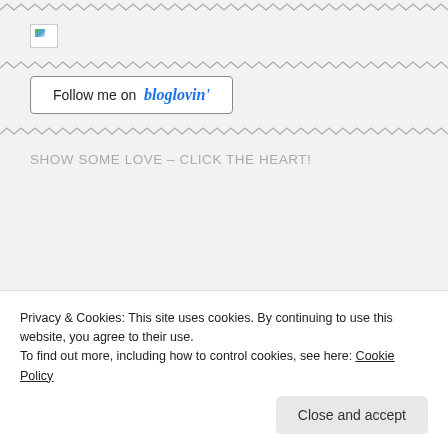[Figure (other): Broken image placeholder icon (small thumbnail with partial landscape graphic)]
[Figure (other): Follow me on bloglovin' button — rectangular outlined button with 'Follow me on' in black and 'bloglovin'' in blue italic]
SHOW SOME LOVE – CLICK THE HEART!
Privacy & Cookies: This site uses cookies. By continuing to use this website, you agree to their use.
To find out more, including how to control cookies, see here: Cookie Policy
Close and accept